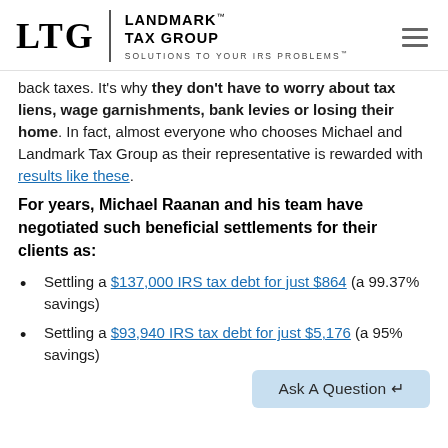LTG | LANDMARK™ TAX GROUP — SOLUTIONS TO YOUR IRS PROBLEMS™
back taxes. It's why they don't have to worry about tax liens, wage garnishments, bank levies or losing their home. In fact, almost everyone who chooses Michael and Landmark Tax Group as their representative is rewarded with results like these.
For years, Michael Raanan and his team have negotiated such beneficial settlements for their clients as:
Settling a $137,000 IRS tax debt for just $864 (a 99.37% savings)
Settling a $93,940 IRS tax debt for just $5,176 (a 95% savings)